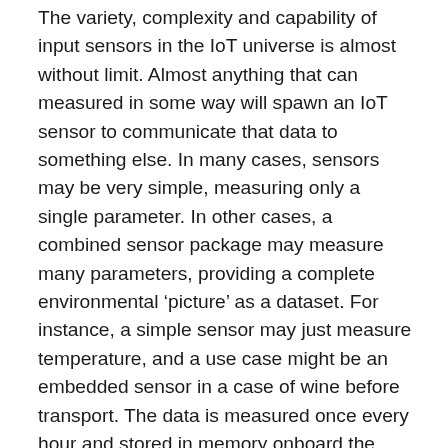The variety, complexity and capability of input sensors in the IoT universe is almost without limit. Almost anything that can measured in some way will spawn an IoT sensor to communicate that data to something else. In many cases, sensors may be very simple, measuring only a single parameter. In other cases, a combined sensor package may measure many parameters, providing a complete environmental ‘picture’ as a dataset. For instance, a simple sensor may just measure temperature, and a use case might be an embedded sensor in a case of wine before transport. The data is measured once every hour and stored in memory onboard the sensor, then ‘read’ upon arrival at the retail point to ensure that maximums or minimums of acceptability were not exceeded. Thermal extremes are the single largest external loss factor in transport of wine worldwide, so this is not a trivial matter.